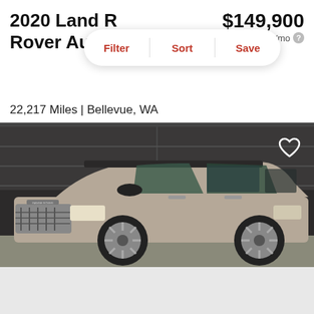2020 Land Rover Autob…
$149,900
est. $2,161/mo
Filter | Sort | Save
22,217 Miles | Bellevue, WA
Track Price   Check Availability
[Figure (photo): 2020 Land Rover Range Rover SUV in silver/champagne color, parked in front of a dark garage door. Side profile showing left front and side view.]